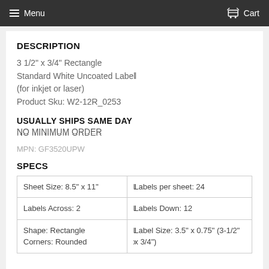Menu  Cart
DESCRIPTION
3 1/2" x 3/4" Rectangle
Standard White Uncoated Label
(for inkjet or laser)
Product Sku: W2-12R_0253
USUALLY SHIPS SAME DAY
NO MINIMUM ORDER
MPN: GF3520UPW
SPECS
| Sheet Size: 8.5" x 11" | Labels per sheet: 24 |
| Labels Across: 2 | Labels Down: 12 |
| Shape: Rectangle
Corners: Rounded | Label Size: 3.5" x 0.75" (3-1/2" x 3/4") |